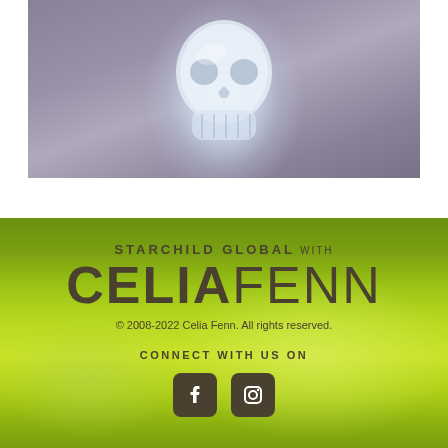[Figure (photo): Close-up photo of a crystal glass skull resting on grey fabric/cloth background]
[Figure (photo): Footer section with bright green grass background featuring Starchild Global with Celia Fenn branding, copyright notice, social media connect section with Facebook and Instagram icons]
STARCHILD GLOBAL with
CELIAFENN
© 2008-2022 Celia Fenn. All rights reserved.
CONNECT WITH US ON